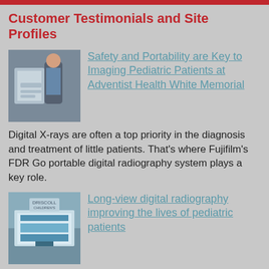Customer Testimonials and Site Profiles
[Figure (photo): Medical professional with patient in hospital room, portable X-ray equipment visible]
Safety and Portability are Key to Imaging Pediatric Patients at Adventist Health White Memorial
Digital X-rays are often a top priority in the diagnosis and treatment of little patients. That's where Fujifilm's FDR Go portable digital radiography system plays a key role.
[Figure (photo): Exterior photograph of Driscoll Children's Hospital building]
Long-view digital radiography improving the lives of pediatric patients
Driscoll Children's Hospital with leading digital X-ray capabilities was only missing one solution: a long-length DR detector that could bring a single exposure capture with high quality images at low dose.